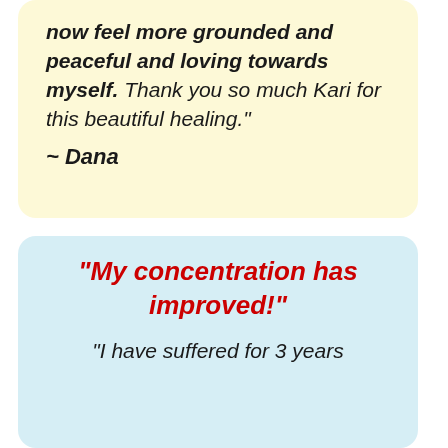now feel more grounded and peaceful and loving towards myself. Thank you so much Kari for this beautiful healing."

~ Dana
“My concentration has improved!”
“I have suffered for 3 years